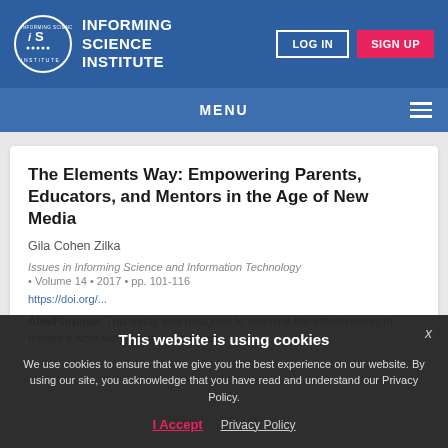[Figure (logo): Informing Science Institute logo with circular badge and text]
INFORMING SCIENCE INSTITUTE | LOG IN | SIGN UP
MENU
The Elements Way: Empowering Parents, Educators, and Mentors in the Age of New Media
Gila Cohen Zilka
Issues in Informing Science and Information Technology
• Volume 14 • 2017 • pp. 101-116
https://doi.org/...
Aim/Purpose: This study was designed to examine the effectiveness of mentor's work with immigrant children
This website is using cookies
We use cookies to ensure that we give you the best experience on our website. By using our site, you acknowledge that you have read and understand our Privacy Policy.
I Accept
Privacy Policy